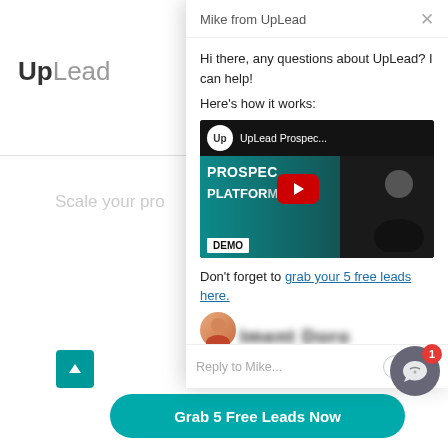[Figure (screenshot): UpLead website background with logo top left, partially visible text 'Scale your pro', avatar section, and 'Prioritize ready-to-' text. Overlaid by a chat widget panel from Mike from UpLead with greeting text, a YouTube video thumbnail (UpLead Prospec... PROSPEC PLATFORM DEMO with red play button), link to grab 5 free leads, blurred name, reply input, emoji and clip icons. Bottom has scroll-up button, Grab 5 Free Leads Now teal button, and chat bubble widget with badge '1'.]